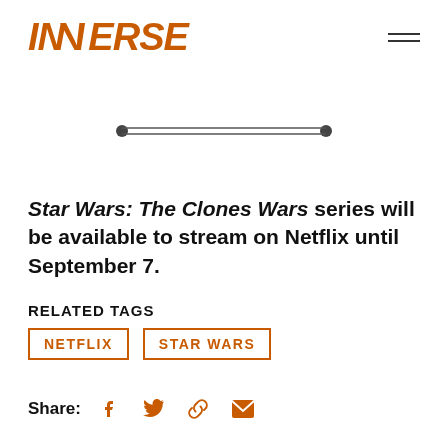INVERSE
[Figure (other): Horizontal slider/range UI element with two filled circle endpoints connected by a horizontal line]
Star Wars: The Clones Wars series will be available to stream on Netflix until September 7.
RELATED TAGS
NETFLIX  STAR WARS
Share: [Facebook] [Twitter] [Link] [Email]